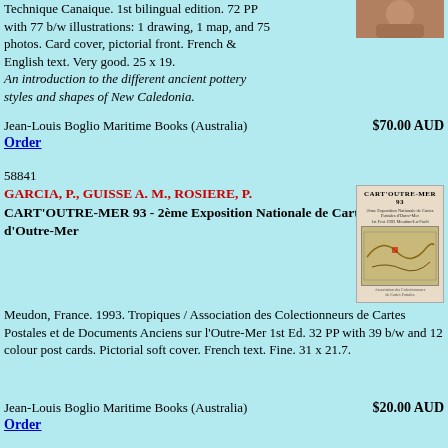Technique Canaique. 1st bilingual edition. 72 PP with 77 b/w illustrations: 1 drawing, 1 map, and 75 photos. Card cover, pictorial front. French & English text. Very good. 25 x 19.
An introduction to the different ancient pottery styles and shapes of New Caledonia.
[Figure (photo): Portrait photo of a person]
Jean-Louis Boglio Maritime Books (Australia)    $70.00 AUD
Order
58841
GARCIA, P., GUISSE A. M., ROSIERE, P.
CART'OUTRE-MER 93 - 2ème Exposition Nationale de Cartes Postales d'Outre-Mer
[Figure (photo): Book cover of CART'OUTRE-MER 93 showing title and a map image]
Meudon, France. 1993. Tropiques / Association des Colectionneurs de Cartes Postales et de Documents Anciens sur l'Outre-Mer 1st Ed. 32 PP with 39 b/w and 12 colour post cards. Pictorial soft cover. French text. Fine. 31 x 21.7.
Jean-Louis Boglio Maritime Books (Australia)    $20.00 AUD
Order